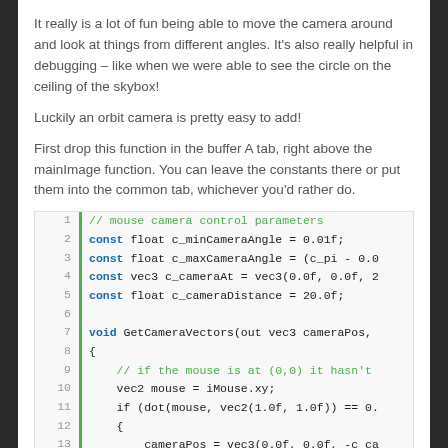It really is a lot of fun being able to move the camera around and look at things from different angles. It's also really helpful in debugging – like when we were able to see the circle on the ceiling of the skybox!
Luckily an orbit camera is pretty easy to add!
First drop this function in the buffer A tab, right above the mainImage function. You can leave the constants there or put them into the common tab, whichever you'd rather do.
[Figure (screenshot): Code snippet showing GLSL/shader code for mouse camera control parameters and GetCameraVectors function, lines 1-13, with green vertical bar, line numbers, and syntax highlighting (blue bold for const/void, green for comments).]